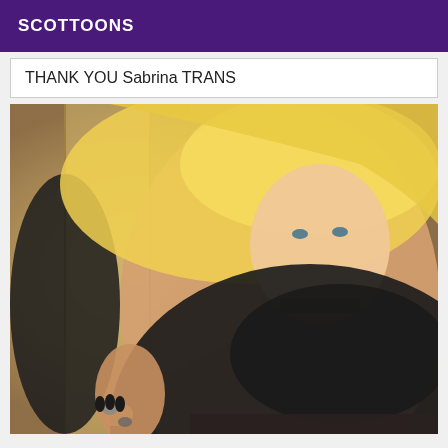SCOTTOONS
THANK YOU Sabrina TRANS
[Figure (photo): A blonde woman in black lingerie posing near a wooden surface, photographed in a glamour style]